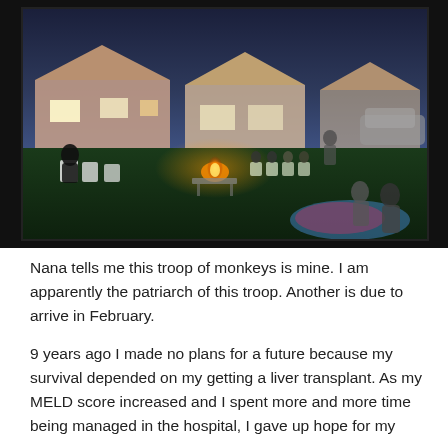[Figure (photo): Evening outdoor gathering of a large family group in a backyard. People are seated in lawn chairs and on the ground around a fire pit. A house with lit windows is visible in the background under a twilight sky. Children and adults are scattered across the lawn.]
Nana tells me this troop of monkeys is mine. I am apparently the patriarch of this troop. Another is due to arrive in February.
9 years ago I made no plans for a future because my survival depended on my getting a liver transplant. As my MELD score increased and I spent more and more time being managed in the hospital, I gave up hope for my